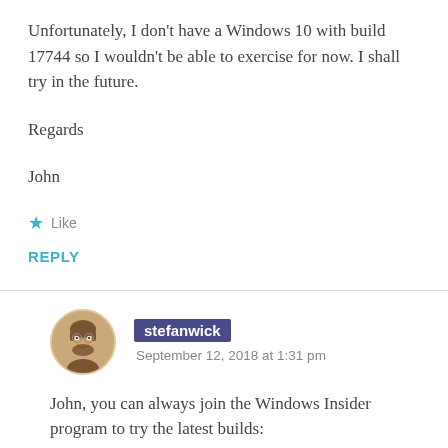Unfortunately, I don't have a Windows 10 with build 17744 so I wouldn't be able to exercise for now. I shall try in the future.
Regards
John
★ Like
REPLY
stefanwick
September 12, 2018 at 1:31 pm
John, you can always join the Windows Insider program to try the latest builds: https://insider.windows.com/